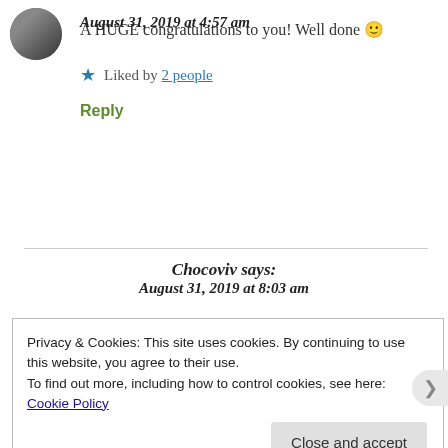August 31, 2019 at 4:57 am
A HUGE congratulations to you! Well done 🙂
★ Liked by 2 people
Reply
Chocoviv says:
August 31, 2019 at 8:03 am
Privacy & Cookies: This site uses cookies. By continuing to use this website, you agree to their use.
To find out more, including how to control cookies, see here: Cookie Policy
Close and accept